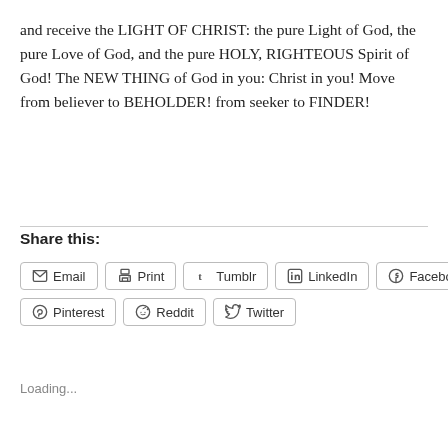and receive the LIGHT OF CHRIST: the pure Light of God, the pure Love of God, and the pure HOLY, RIGHTEOUS Spirit of God! The NEW THING of God in you: Christ in you! Move from believer to BEHOLDER! from seeker to FINDER!
Share this:
Loading...